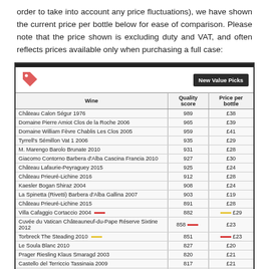order to take into account any price fluctuations), we have shown the current price per bottle below for ease of comparison. Please note that the price shown is excluding duty and VAT, and often reflects prices available only when purchasing a full case:
| Wine | Quality score | Price per bottle |
| --- | --- | --- |
| Château Calon Ségur 1976 | 989 | £38 |
| Domaine Pierre Amiot Clos de la Roche 2006 | 965 | £39 |
| Domaine William Fèvre Chablis Les Clos 2005 | 959 | £41 |
| Tyrrell's Sémillon Vat 1 2006 | 935 | £29 |
| M. Marengo Barolo Brunate 2010 | 931 | £28 |
| Giacomo Contorno Barbera d'Alba Cascina Francia 2010 | 927 | £30 |
| Château Lafaurie-Peyraguey 2015 | 925 | £24 |
| Château Prieuré-Lichine 2016 | 912 | £28 |
| Kaesler Bogan Shiraz 2004 | 908 | £24 |
| La Spinetta (Rivetti) Barbera d'Alba Gallina 2007 | 903 | £19 |
| Château Prieuré-Lichine 2015 | 891 | £28 |
| Villa Cafaggio Cortaccio 2004 | 882 | £29 |
| Cuvée du Vatican Châteauneuf-du-Pape Réserve Sixtine 2012 | 858 | £23 |
| Torbreck The Steading 2010 | 851 | £23 |
| Le Soula Blanc 2010 | 827 | £20 |
| Prager Riesling Klaus Smaragd 2003 | 820 | £21 |
| Castello del Terriccio Tassinaia 2009 | 817 | £21 |
| Domaine Huet Le Mont Sec 2013 | 812 | £19 |